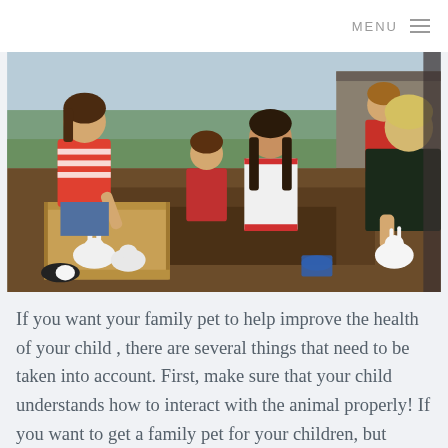MENU
[Figure (photo): Children outdoors playing with white rabbits and baby bunnies in a cardboard box filled with soil. A girl in a red and white striped shirt leans over the box while other children gather around. A boy in a red shirt stands in the background. Another blonde boy sits to the right holding a rabbit. Farm fields are visible in the background.]
If you want your family pet to help improve the health of your child , there are several things that need to be taken into account. First, make sure that your child understands how to interact with the animal properly! If you want to get a family pet for your children, but they're too young or